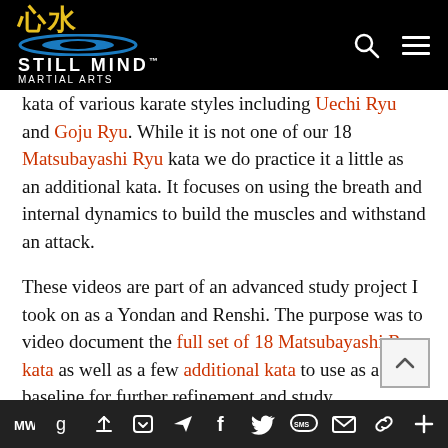[Figure (logo): Still Mind Martial Arts logo with Chinese characters in gold, blue ellipse emblem, white text on black background]
kata of various karate styles including Uechi Ryu and Goju Ryu. While it is not one of our 18 Matsubayashi Ryu kata we do practice it a little as an additional kata. It focuses on using the breath and internal dynamics to build the muscles and withstand an attack.
These videos are part of an advanced study project I took on as a Yondan and Renshi. The purpose was to video document the full set of 18 Matsubayashi Ryu kata as well as a few additional kata to use as a baseline for further refinement and study.
If you enjoyed this post please let us know with a
MW  g  [share icons]  p  [send]  f  [twitter]  SMS  [mail]  [link]  +